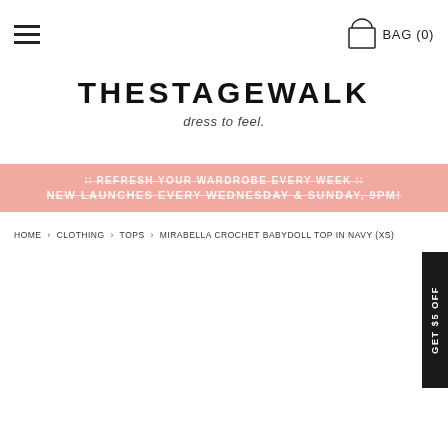☰  BAG (0)
THESTAGEWALK
dress to feel.
REFRESH YOUR WARDROBE EVERY WEEK NEW LAUNCHES EVERY WEDNESDAY & SUNDAY, 9PM!
HOME › CLOTHING › TOPS › MIRABELLA CROCHET BABYDOLL TOP IN NAVY (XS)
GET $5 OFF